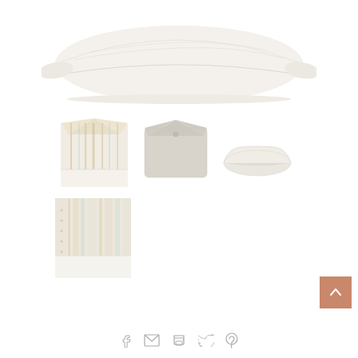[Figure (photo): Large white/cream pillow viewed from the side, showing its fluffy profile against white background]
[Figure (photo): Three thumbnail images of pillows: a striped beige/gold decorative pillow, a plain light grey square pillow, and a flat cream pillow on its side]
[Figure (photo): Close-up texture detail of the striped pillow fabric]
[Figure (illustration): Social share icons: Facebook, email, print, Twitter, Pinterest. Back to top button in terracotta color with up arrow.]